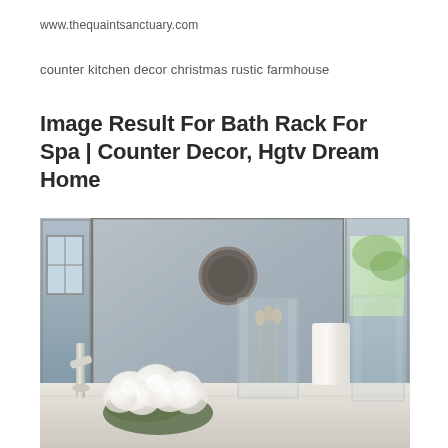www.thequaintsanctuary.com
counter kitchen decor christmas rustic farmhouse
Image Result For Bath Rack For Spa | Counter Decor, Hgtv Dream Home
[Figure (photo): Bathroom counter scene with white roses, a white pillar candle in a glass hurricane holder, clear glass vases with dried botanicals, a chrome faucet, and a large mirror reflecting a window and an exterior view with greenery. Neutral gray and white tones throughout.]